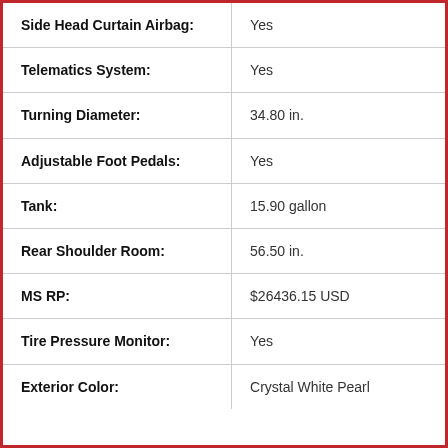| Feature | Value |
| --- | --- |
| Side Head Curtain Airbag: | Yes |
| Telematics System: | Yes |
| Turning Diameter: | 34.80 in. |
| Adjustable Foot Pedals: | Yes |
| Tank: | 15.90 gallon |
| Rear Shoulder Room: | 56.50 in. |
| MS RP: | $26436.15 USD |
| Tire Pressure Monitor: | Yes |
| Exterior Color: | Crystal White Pearl |